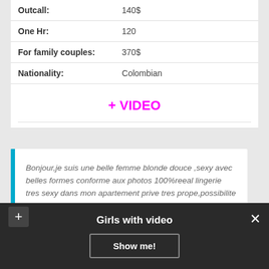| Outcall: | 140$ |
| One Hr: | 120 |
| For family couples: | 370$ |
| Nationality: | Colombian |
+ VIDEO
Bonjour,je suis une belle femme blonde douce ,sexy avec belles formes conforme aux photos 100%reeal lingerie tres sexy dans mon apartement prive tres prope,possibilite de douche
Girls with video
Show me!